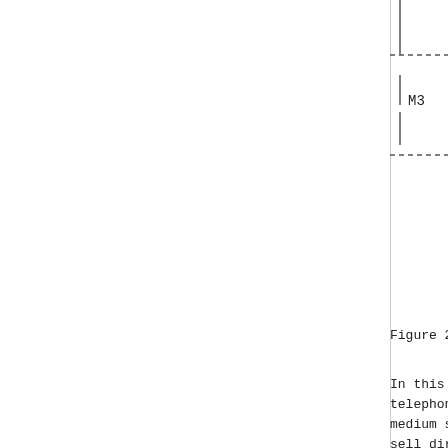[Figure (schematic): Partial diagram showing a network or telephony topology with a node labeled M3, connected by dashed horizontal lines above and below, and vertical solid lines indicating connections. The diagram is cropped at the right edge of the page.]
Figure 2: TR...
In this application, there... telephony gateways. Each o... medium sized providers. Th... sell directly to consumers... relationship, as shown in...